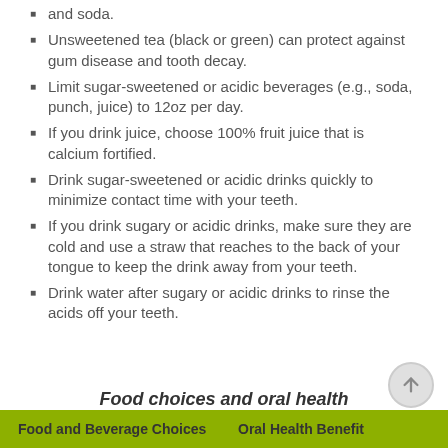and soda.
Unsweetened tea (black or green) can protect against gum disease and tooth decay.
Limit sugar-sweetened or acidic beverages (e.g., soda, punch, juice) to 12oz per day.
If you drink juice, choose 100% fruit juice that is calcium fortified.
Drink sugar-sweetened or acidic drinks quickly to minimize contact time with your teeth.
If you drink sugary or acidic drinks, make sure they are cold and use a straw that reaches to the back of your tongue to keep the drink away from your teeth.
Drink water after sugary or acidic drinks to rinse the acids off your teeth.
Food choices and oral health
| Food and Beverage Choices | Oral Health Benefit |
| --- | --- |